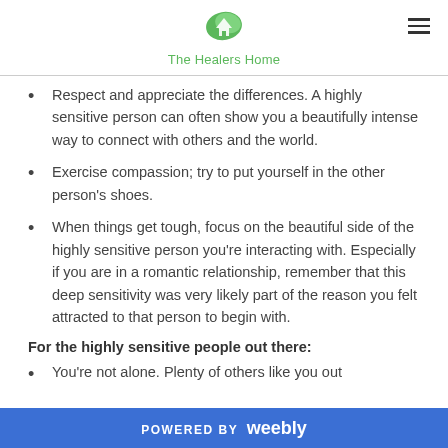The Healers Home
Respect and appreciate the differences. A highly sensitive person can often show you a beautifully intense way to connect with others and the world.
Exercise compassion; try to put yourself in the other person's shoes.
When things get tough, focus on the beautiful side of the highly sensitive person you're interacting with. Especially if you are in a romantic relationship, remember that this deep sensitivity was very likely part of the reason you felt attracted to that person to begin with.
For the highly sensitive people out there:
You're not alone. Plenty of others like you out
POWERED BY weebly